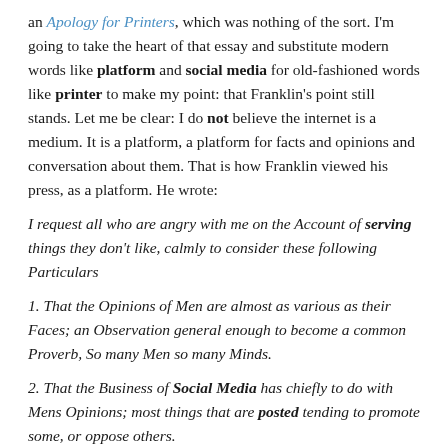an Apology for Printers, which was nothing of the sort. I'm going to take the heart of that essay and substitute modern words like platform and social media for old-fashioned words like printer to make my point: that Franklin's point still stands. Let me be clear: I do not believe the internet is a medium. It is a platform, a platform for facts and opinions and conversation about them. That is how Franklin viewed his press, as a platform. He wrote:
I request all who are angry with me on the Account of serving things they don't like, calmly to consider these following Particulars
1. That the Opinions of Men are almost as various as their Faces; an Observation general enough to become a common Proverb, So many Men so many Minds.
2. That the Business of Social Media has chiefly to do with Mens Opinions; most things that are posted tending to promote some, or oppose others.